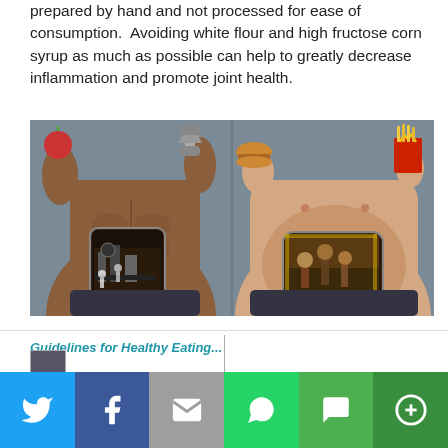prepared by hand and not processed for ease of consumption.  Avoiding white flour and high fructose corn syrup as much as possible can help to greatly decrease inflammation and promote joint health.
[Figure (photo): Artistic photo showing two body types side by side: a fit person holding an apple and dumbbell on the left, and an overweight person holding a burger and fries on the right, each with a window in their abdomen showing interior machinery/art depicting how their bodies process food.]
Social sharing bar: Twitter, Facebook, Email, WhatsApp, SMS, More